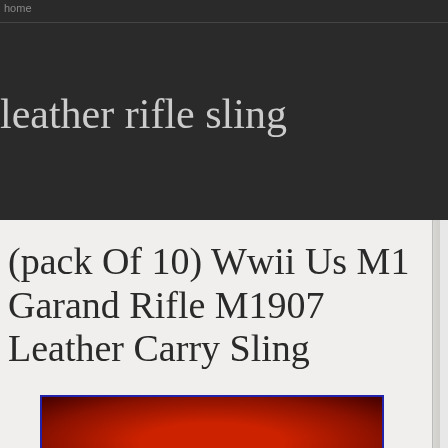home
leather rifle sling
(pack Of 10) Wwii Us M1 Garand Rifle M1907 Leather Carry Sling
[Figure (photo): Product photo showing a red/brown leather rifle sling, partially visible at bottom of page inside a blue-bordered white box]